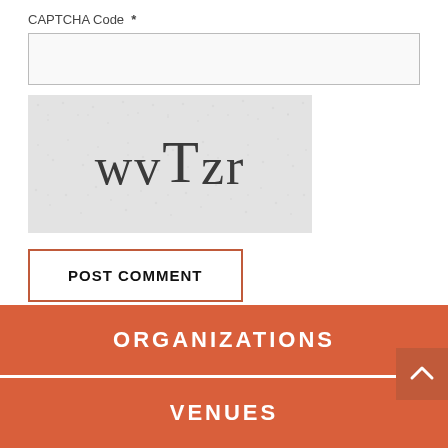CAPTCHA Code  *
[Figure (screenshot): CAPTCHA image showing distorted text 'wvTzr' on a gray dotted background]
POST COMMENT
ORGANIZATIONS
VENUES